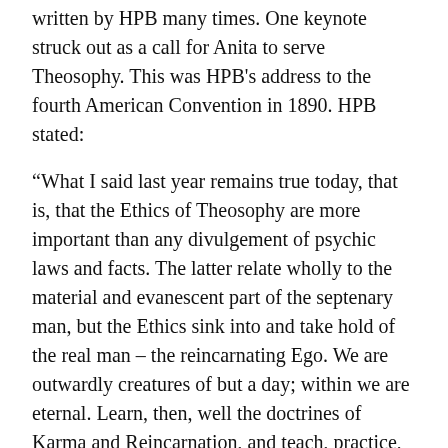written by HPB many times. One keynote struck out as a call for Anita to serve Theosophy. This was HPB's address to the fourth American Convention in 1890. HPB stated:
“What I said last year remains true today, that is, that the Ethics of Theosophy are more important than any divulgement of psychic laws and facts. The latter relate wholly to the material and evanescent part of the septenary man, but the Ethics sink into and take hold of the real man – the reincarnating Ego. We are outwardly creatures of but a day; within we are eternal. Learn, then, well the doctrines of Karma and Reincarnation, and teach, practice, promulgate that system of life and thought which alone can save the coming races. Do not work merely for the Theosophical Society [or ULT], but through it for Humanity.”
Anita’s heart was pierced by this proclamation, so at the age of sixteen, she began compiling what great thinkers